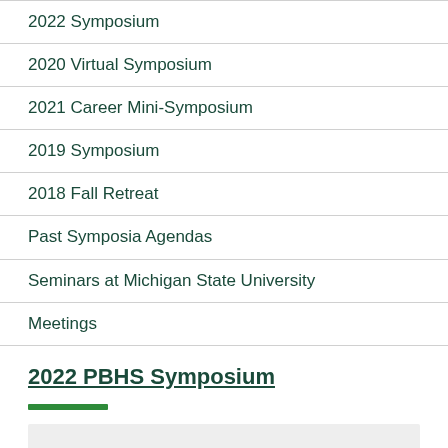2022 Symposium
2020 Virtual Symposium
2021 Career Mini-Symposium
2019 Symposium
2018 Fall Retreat
Past Symposia Agendas
Seminars at Michigan State University
Meetings
2022 PBHS Symposium
[Figure (other): Green decorative horizontal bar]
[Figure (other): Gray content placeholder box]